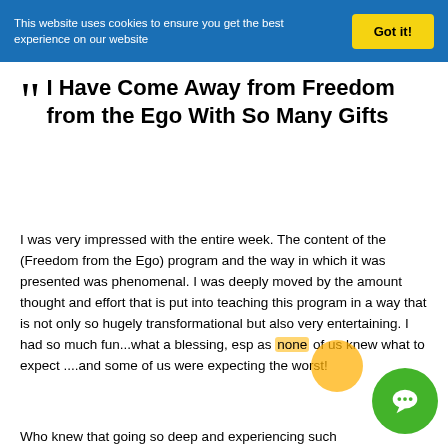This website uses cookies to ensure you get the best experience on our website  Got it!
““  I Have Come Away from Freedom from the Ego With So Many Gifts
I was very impressed with the entire week. The content of the (Freedom from the Ego) program and the way in which it was presented was phenomenal. I was deeply moved by the amount thought and effort that is put into teaching this program in a way that is not only so hugely transformational but also very entertaining. I had so much fun...what a blessing, esp as none of us knew what to expect ....and some of us were expecting the worst!
Who knew that going so deep and experiencing such